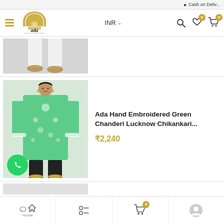Cash on Deliv...
[Figure (logo): Ada design studio logo — golden arch/dome shape with 'ada' text in black serif below]
INR
[Figure (photo): Partial product photo showing legs/feet of model wearing white pants and gold sandals]
[Figure (photo): Model wearing Ada Hand Embroidered Green Chanderi Lucknow Chikankari kurti with black pants]
Ada Hand Embroidered Green Chanderi Lucknow Chikankari...
₹2,240
Home | Menu | Cart (0) | Profile